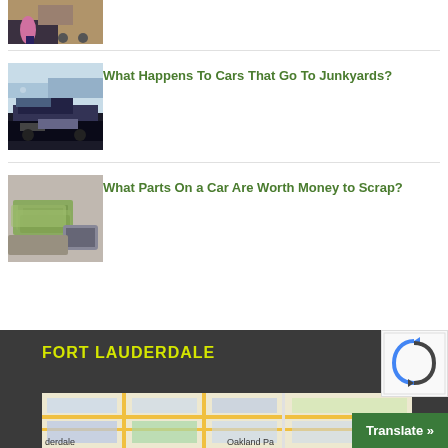[Figure (photo): Partial view of a person standing next to a car, cropped at top]
[Figure (photo): A dark SUV being towed on a flatbed truck in a parking lot]
What Happens To Cars That Go To Junkyards?
[Figure (photo): Hands exchanging cash money with cars in background]
What Parts On a Car Are Worth Money to Scrap?
FORT LAUDERDALE
[Figure (map): Partial street map showing Oakland Park area of Fort Lauderdale]
Translate »